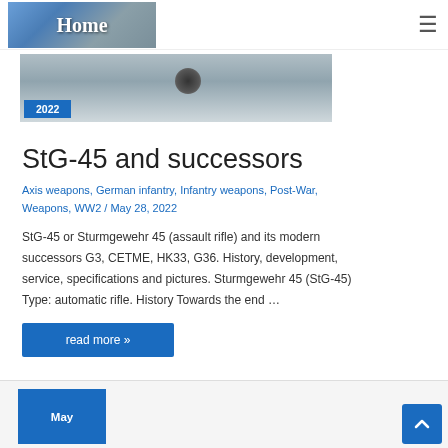Home
[Figure (photo): Partially visible banner image with a blue badge showing '2022' and a dark circular object]
StG-45 and successors
Axis weapons, German infantry, Infantry weapons, Post-War, Weapons, WW2 / May 28, 2022
StG-45 or Sturmgewehr 45 (assault rifle) and its modern successors G3, CETME, HK33, G36. History, development, service, specifications and pictures. Sturmgewehr 45 (StG-45) Type: automatic rifle. History Towards the end …
read more »
[Figure (other): Partially visible next article card with a blue May badge]